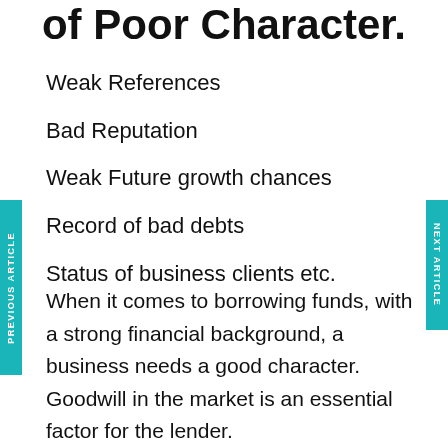of Poor Character.
Weak References
Bad Reputation
Weak Future growth chances
Record of bad debts
Status of business clients etc.
When it comes to borrowing funds, with a strong financial background, a business needs a good character. Goodwill in the market is an essential factor for the lender.